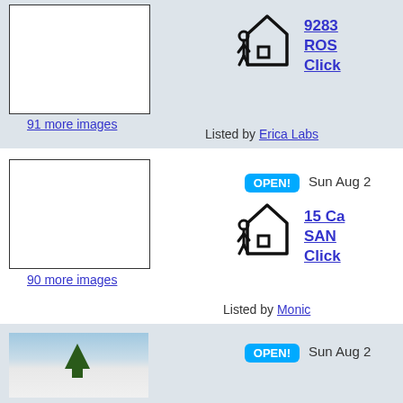[Figure (screenshot): Thumbnail image placeholder (white box with border) for a real estate listing]
91 more images
[Figure (illustration): Person walking toward house icon]
9283 ROS Click
Listed by Erica Labs
[Figure (screenshot): Second thumbnail image placeholder (white box with border) for a real estate listing]
90 more images
OPEN! Sun Aug 2
[Figure (illustration): Person walking toward house icon]
15 Ca SAN Click
Listed by Monic
[Figure (photo): Photo of a snowy winter scene with a tree against blue sky]
OPEN! Sun Aug 2